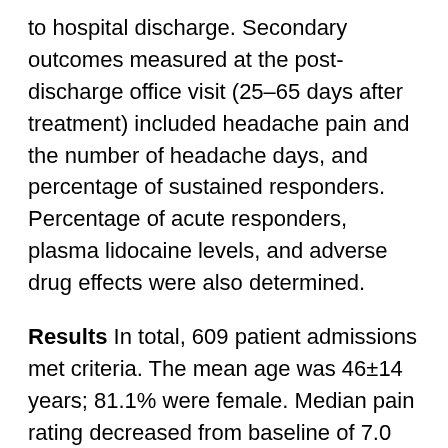to hospital discharge. Secondary outcomes measured at the post-discharge office visit (25–65 days after treatment) included headache pain and the number of headache days, and percentage of sustained responders. Percentage of acute responders, plasma lidocaine levels, and adverse drug effects were also determined.
Results In total, 609 patient admissions met criteria. The mean age was 46±14 years; 81.1% were female. Median pain rating decreased from baseline of 7.0 (5.0–8.0) to 1.0 (0.0–3.0) at end of hospitalization (p<0.001); 87.8% of patients were acute responders. Average pain (N=261) remained below baseline at office visit 1 (5.5 (4.0–7.0);